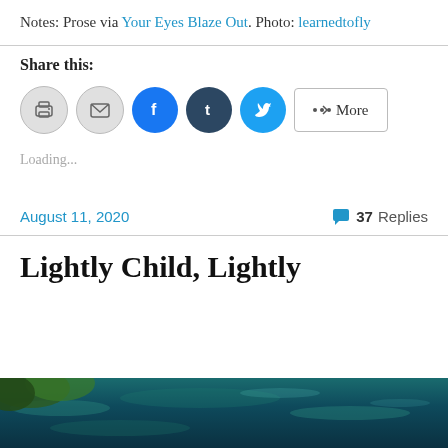Notes: Prose via Your Eyes Blaze Out. Photo: learnedtofly
Share this:
Loading...
August 11, 2020   37 Replies
Lightly Child, Lightly
[Figure (photo): Ocean/water scene with greenish foliage visible at top left corner, teal-blue water filling the rest of the image]